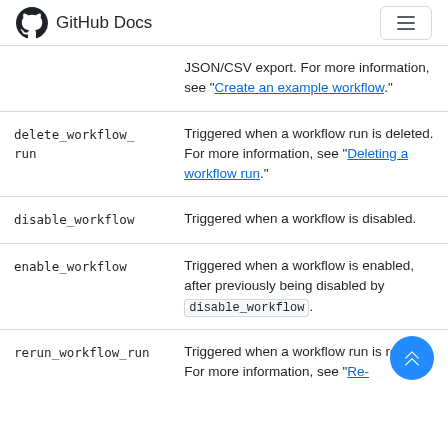GitHub Docs
| Event | Description |
| --- | --- |
|  | JSON/CSV export. For more information, see "Create an example workflow." |
| delete_workflow_run | Triggered when a workflow run is deleted. For more information, see "Deleting a workflow run." |
| disable_workflow | Triggered when a workflow is disabled. |
| enable_workflow | Triggered when a workflow is enabled, after previously being disabled by disable_workflow . |
| rerun_workflow_run | Triggered when a workflow run is re-run. For more information, see "Re- |